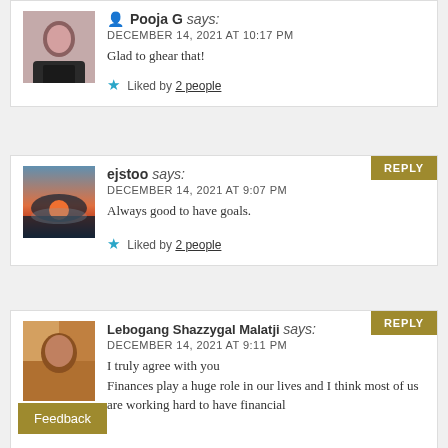Pooja G says: DECEMBER 14, 2021 AT 10:17 PM Glad to ghear that! Liked by 2 people
ejstoo says: DECEMBER 14, 2021 AT 9:07 PM Always good to have goals. Liked by 2 people
Lebogang Shazzygal Malatji says: DECEMBER 14, 2021 AT 9:11 PM I truly agree with you Finances play a huge role in our lives and I think most of us are working hard to have financial